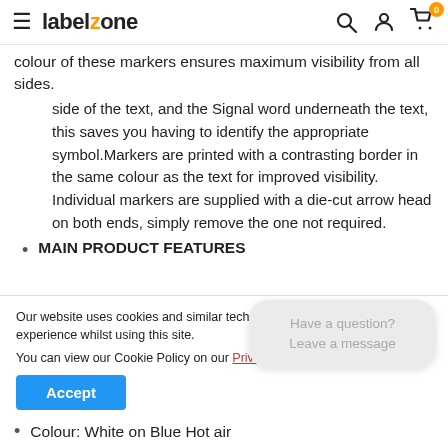labelzone — navigation bar with hamburger menu, search, account, and cart icons
colour of these markers ensures maximum visibility from all sides.
side of the text, and the Signal word underneath the text, this saves you having to identify the appropriate symbol.Markers are printed with a contrasting border in the same colour as the text for improved visibility. Individual markers are supplied with a die-cut arrow head on both ends, simply remove the one not required.
MAIN PRODUCT FEATURES
Our website uses cookies and similar technologies to give you a better experience whilst using this site.

You can view our Cookie Policy on our Privcy Page
Colour: White on Blue Hot air